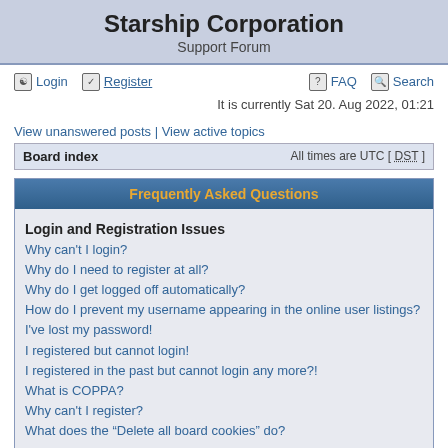Starship Corporation
Support Forum
Login  Register  FAQ  Search
It is currently Sat 20. Aug 2022, 01:21
View unanswered posts | View active topics
Board index   All times are UTC [ DST ]
Frequently Asked Questions
Login and Registration Issues
Why can't I login?
Why do I need to register at all?
Why do I get logged off automatically?
How do I prevent my username appearing in the online user listings?
I've lost my password!
I registered but cannot login!
I registered in the past but cannot login any more?!
What is COPPA?
Why can't I register?
What does the “Delete all board cookies” do?
User Preferences and settings
How do I change my settings?
The times are not correct!
I changed the timezone and the time is still wrong!
My language is not in the list!
How do I show an image along with my username?